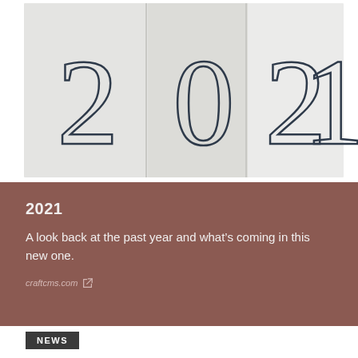[Figure (illustration): Decorative image showing the year '2021' in large thin font on a light gray background with vertical panel/book-spine style columns. The digits 2, 0, 2, 1 are rendered in dark navy/charcoal outline style on slightly separated grey panels.]
2021
A look back at the past year and what’s coming in this new one.
craftcms.com
NEWS